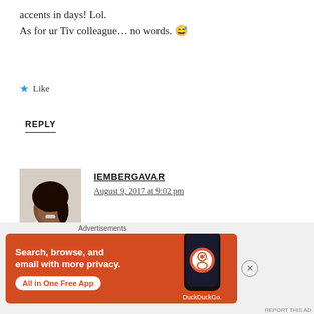accents in days! Lol.
As for ur Tiv colleague… no words. 😅
★ Like
REPLY
[Figure (photo): Profile photo of commenter iembergavar — a woman with dark hair in a ponytail, smiling, wearing a light-colored top]
IEMBERGAVAR
August 9, 2017 at 9:02 pm
Oh my! I laughed so hard at acquired American
[Figure (screenshot): DuckDuckGo advertisement banner: orange background with text 'Search, browse, and email with more privacy. All in One Free App' and DuckDuckGo logo on a phone mockup]